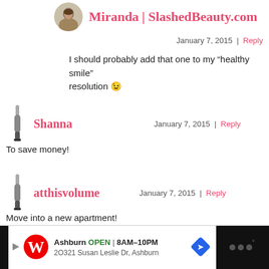Miranda | SlashedBeauty.com
January 7, 2015 | Reply
I should probably add that one to my “healthy smile” resolution 😉
Shanna
January 7, 2015 | Reply
To save money!
atthisvolume
January 7, 2015 | Reply
Move into a new apartment!
Miranda | SlashedBeauty.com
January 7, 2015 | Reply
That’s another one of my personal resolutions! My lease is up
[Figure (other): Advertisement bar: Walgreens logo, Ashburn OPEN 8AM-10PM, 20321 Susan Leslie Dr Ashburn]